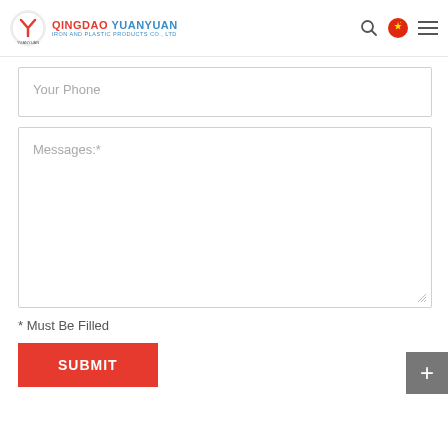QINGDAO YUANYUAN IRON AND PLASTIC PRODUCTS CO., LTD
Your Phone
Messages:*
* Must Be Filled
SUBMIT